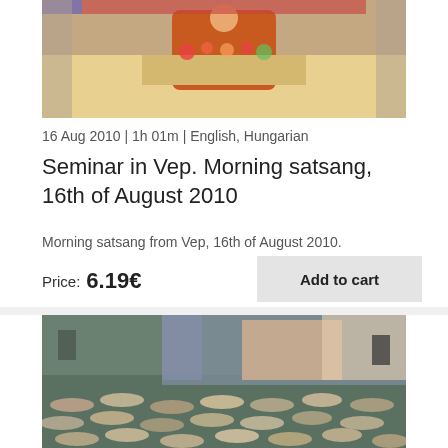[Figure (photo): A person in orange robes seated at a decorated table with flowers, appearing to be a spiritual teacher during a satsang session.]
16 Aug 2010 | 1h 01m | English, Hungarian
Seminar in Vep. Morning satsang, 16th of August 2010
Morning satsang from Vep, 16th of August 2010.
Price: 6.19€
[Figure (photo): A large hall with many people lying on the floor in rows, with a stage visible in the background during what appears to be a group meditation or healing session.]